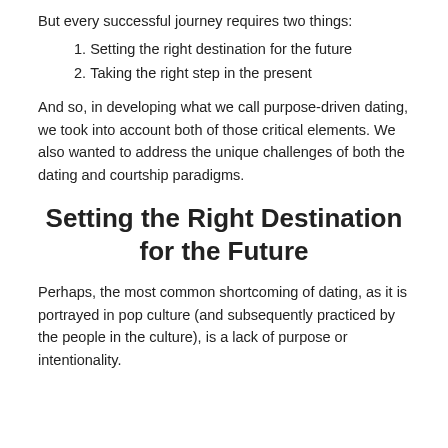But every successful journey requires two things:
1. Setting the right destination for the future
2. Taking the right step in the present
And so, in developing what we call purpose-driven dating, we took into account both of those critical elements. We also wanted to address the unique challenges of both the dating and courtship paradigms.
Setting the Right Destination for the Future
Perhaps, the most common shortcoming of dating, as it is portrayed in pop culture (and subsequently practiced by the people in the culture), is a lack of purpose or intentionality.